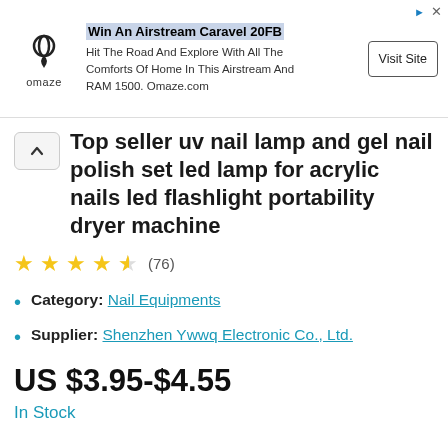[Figure (screenshot): Omaze advertisement banner: Win An Airstream Caravel 20FB. Hit The Road And Explore With All The Comforts Of Home In This Airstream And RAM 1500. Omaze.com. Visit Site button.]
Top seller uv nail lamp and gel nail polish set led lamp for acrylic nails led flashlight portability dryer machine
★★★★☆ (76)
Category: Nail Equipments
Supplier: Shenzhen Ywwq Electronic Co., Ltd.
US $3.95-$4.55
In Stock